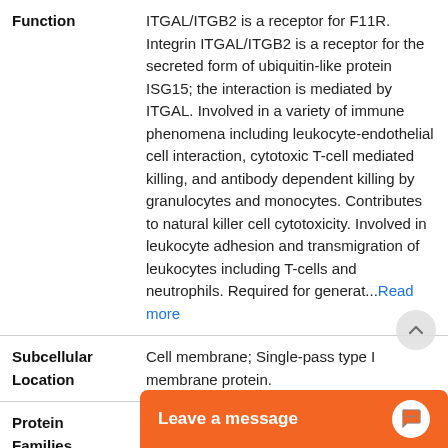| Field | Value |
| --- | --- |
| Function | ITGAL/ITGB2 is a receptor for F11R. Integrin ITGAL/ITGB2 is a receptor for the secreted form of ubiquitin-like protein ISG15; the interaction is mediated by ITGAL. Involved in a variety of immune phenomena including leukocyte-endothelial cell interaction, cytotoxic T-cell mediated killing, and antibody dependent killing by granulocytes and monocytes. Contributes to natural killer cell cytotoxicity. Involved in leukocyte adhesion and transmigration of leukocytes including T-cells and neutrophils. Required for generat...Read more |
| Subcellular Location | Cell membrane; Single-pass type I membrane protein. |
| Protein Families | Integrin alpha chain family. |
| Tissue | Leukoc... |